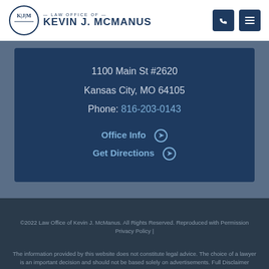[Figure (logo): Law Office of Kevin J. McManus logo with circular monogram KJM]
1100 Main St #2620
Kansas City, MO 64105
Phone: 816-203-0143
Office Info ➔
Get Directions ➔
©2022 Law Office of Kevin J. McManus. All Rights Reserved. Reproduced with Permission Privacy Policy | The information provided by this website does not constitute legal advice. The choice of a lawyer is an important decision and should not be based solely on advertisements. Full Disclaimer